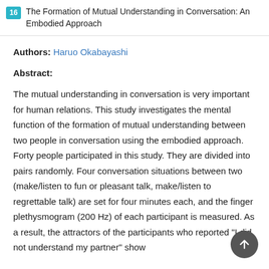16 The Formation of Mutual Understanding in Conversation: An Embodied Approach
Authors: Haruo Okabayashi
Abstract:
The mutual understanding in conversation is very important for human relations. This study investigates the mental function of the formation of mutual understanding between two people in conversation using the embodied approach. Forty people participated in this study. They are divided into pairs randomly. Four conversation situations between two (make/listen to fun or pleasant talk, make/listen to regrettable talk) are set for four minutes each, and the finger plethysmogram (200 Hz) of each participant is measured. As a result, the attractors of the participants who reported "I did not understand my partner" show